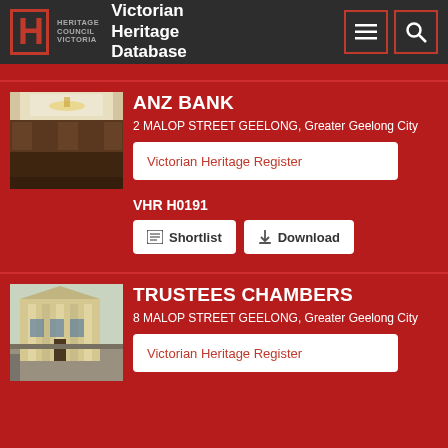Heritage Council Victoria — Victorian Heritage Database
ANZ BANK
2 MALOP STREET GEELONG, Greater Geelong City
Victorian Heritage Register
VHR H0191
Shortlist
Download
TRUSTEES CHAMBERS
8 MALOP STREET GEELONG, Greater Geelong City
Victorian Heritage Register